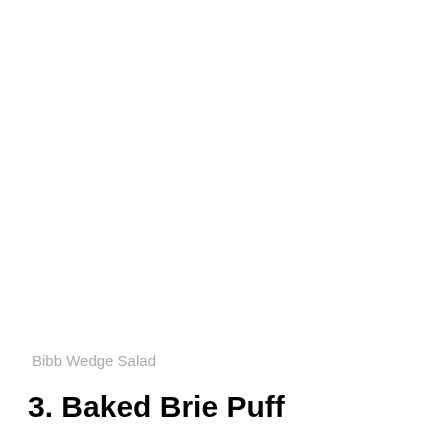Bibb Wedge Salad
3. Baked Brie Puff